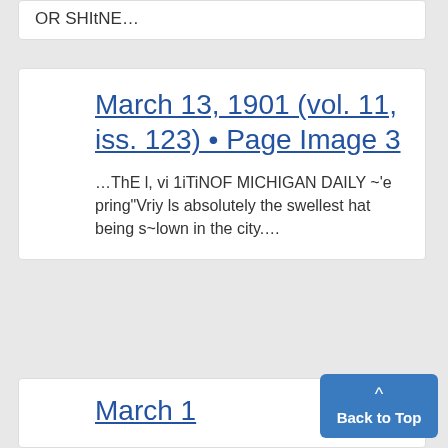OR SHItNE...
March 13, 1901 (vol. 11, iss. 123) • Page Image 3
...ThE l, vi 1iTiNOF MICHIGAN DAILY ~'e pring"Vriy ls absolutely the swellest hat being s~lown in the city....
March 1